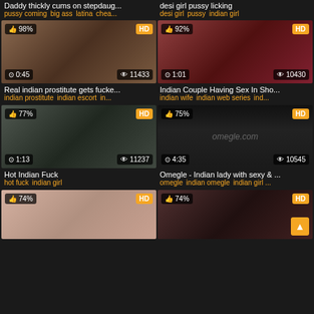[Figure (screenshot): Adult video thumbnail grid page showing multiple video thumbnails with titles, tags, view counts, duration, and HD badges]
Daddy thickly cums on stepdaug...
desi girl pussy licking
pussy coming big ass latina chea...
desi girl pussy indian girl
[Figure (photo): Video thumbnail - 98% rating, HD, 0:45 duration, 11433 views]
[Figure (photo): Video thumbnail - 92% rating, HD, 1:01 duration, 10430 views]
Real indian prostitute gets fucke...
Indian Couple Having Sex In Sho...
indian prostitute indian escort in...
indian wife indian web series ind...
[Figure (photo): Video thumbnail - 77% rating, HD, 1:13 duration, 11237 views]
[Figure (screenshot): Video thumbnail - 75% rating, HD, 4:35 duration, 10545 views - Omegle chat screenshot]
Hot Indian Fuck
Omegle - Indian lady with sexy & ...
hot fuck indian girl
omegle indian omegle indian girl ...
[Figure (photo): Video thumbnail - 74% rating, HD, bottom left]
[Figure (photo): Video thumbnail - 74% rating, HD, bottom right with back-to-top button]